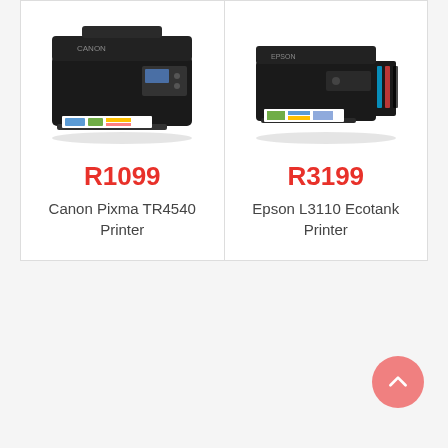[Figure (illustration): Canon Pixma TR4540 Printer product image - black inkjet multifunction printer with paper tray extended]
R1099
Canon Pixma TR4540 Printer
[Figure (illustration): Epson L3110 Ecotank Printer product image - black inkjet printer with paper tray extended]
R3199
Epson L3110 Ecotank Printer